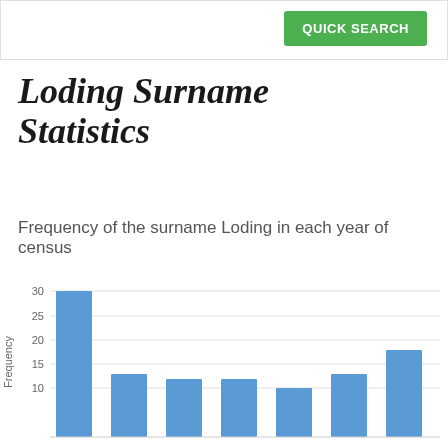QUICK SEARCH
Loding Surname Statistics
Frequency of the surname Loding in each year of census
[Figure (bar-chart): Frequency of the surname Loding in each year of census]